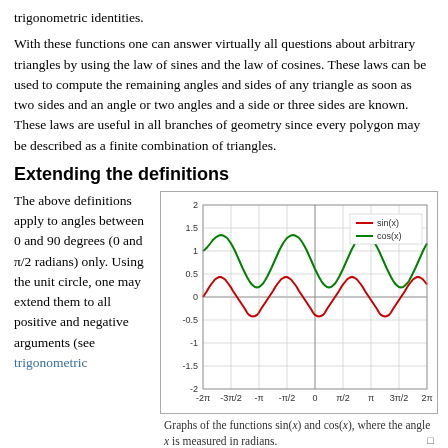trigonometric identities.
With these functions one can answer virtually all questions about arbitrary triangles by using the law of sines and the law of cosines. These laws can be used to compute the remaining angles and sides of any triangle as soon as two sides and an angle or two angles and a side or three sides are known. These laws are useful in all branches of geometry since every polygon may be described as a finite combination of triangles.
Extending the definitions
The above definitions apply to angles between 0 and 90 degrees (0 and π/2 radians) only. Using the unit circle, one may extend them to all positive and negative arguments (see trigonometric
[Figure (continuous-plot): Graphs of the sine and cosine functions (sin(x) in red, cos(x) in green) plotted from -2π to 2π, with y-axis ranging from -2 to 2. X-axis labels: -2π, -3π/2, -π, -π/2, 0, π/2, π, 3π/2, 2π. Y-axis labels: -2, -1.5, -1, -0.5, 0, 0.5, 1, 1.5, 2.]
Graphs of the functions sin(x) and cos(x), where the angle x is measured in radians.